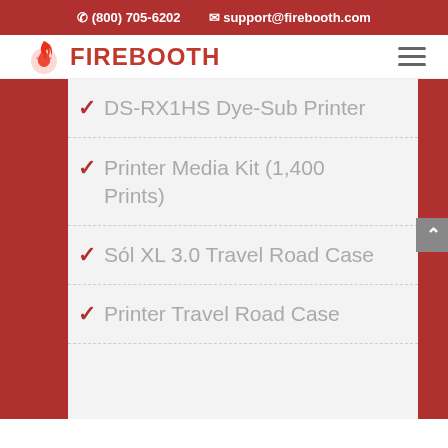(800) 705-6202   support@firebooth.com
[Figure (logo): FireBooth logo with flame and camera shutter icon in red/orange]
DS-RX1HS Dye-Sub Printer
Printer Media Kit (1,400 Prints)
Sól XL 3.0 Travel Road Case
Printer Travel Road Case